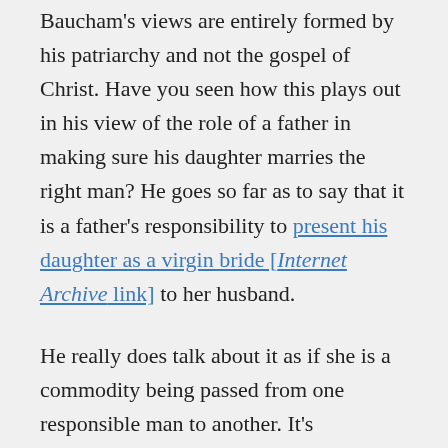Baucham's views are entirely formed by his patriarchy and not the gospel of Christ. Have you seen how this plays out in his view of the role of a father in making sure his daughter marries the right man? He goes so far as to say that it is a father's responsibility to present his daughter as a virgin bride [Internet Archive link] to her husband.

He really does talk about it as if she is a commodity being passed from one responsible man to another. It's frightening, and it leads to this idea of marriage permanence no matter what. How could it not be